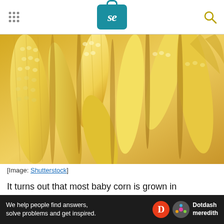Serious Eats
[Figure (photo): Close-up photograph of multiple baby corn cobs (young, small yellow corn) piled together, showing their distinctive ridged texture and pale yellow color.]
[Image: Shutterstock]
It turns out that most baby corn is grown in Thailand, where it's also known as candle corn. According to Mark Lambert, a representative of
Ad
We help people find answers, solve problems and get inspired. Dotdash meredith